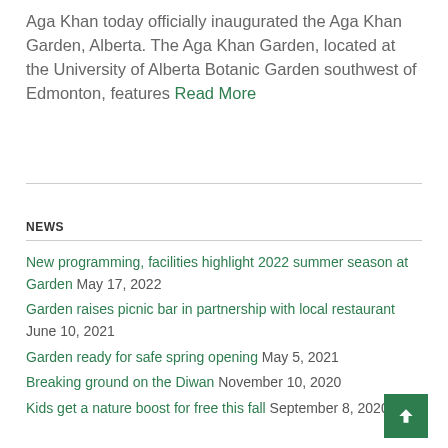Aga Khan today officially inaugurated the Aga Khan Garden, Alberta. The Aga Khan Garden, located at the University of Alberta Botanic Garden southwest of Edmonton, features Read More
NEWS
New programming, facilities highlight 2022 summer season at Garden May 17, 2022
Garden raises picnic bar in partnership with local restaurant June 10, 2021
Garden ready for safe spring opening May 5, 2021
Breaking ground on the Diwan November 10, 2020
Kids get a nature boost for free this fall September 8, 2020